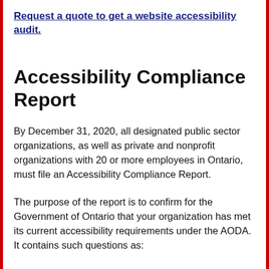Request a quote to get a website accessibility audit.
Accessibility Compliance Report
By December 31, 2020, all designated public sector organizations, as well as private and nonprofit organizations with 20 or more employees in Ontario, must file an Accessibility Compliance Report.
The purpose of the report is to confirm for the Government of Ontario that your organization has met its current accessibility requirements under the AODA. It contains such questions as: